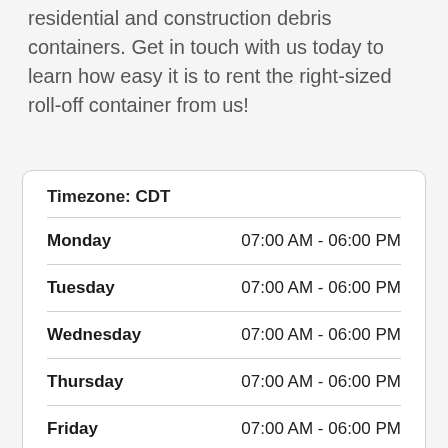residential and construction debris containers. Get in touch with us today to learn how easy it is to rent the right-sized roll-off container from us!
| Day | Hours |
| --- | --- |
| Timezone: CDT |  |
| Monday | 07:00 AM - 06:00 PM |
| Tuesday | 07:00 AM - 06:00 PM |
| Wednesday | 07:00 AM - 06:00 PM |
| Thursday | 07:00 AM - 06:00 PM |
| Friday | 07:00 AM - 06:00 PM |
| Saturday | 07:00 AM - 12:00 PM |
| Sunday | Closed |